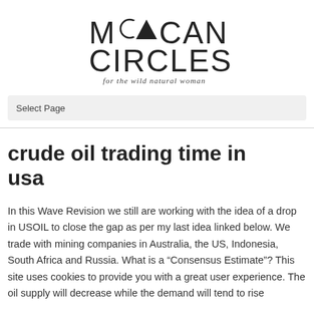[Figure (logo): Moon Circles logo — stylized text reading MOON CIRCLES with geometric moon/triangle symbols, subtitle 'for the wild natural woman']
Select Page
crude oil trading time in usa
In this Wave Revision we still are working with the idea of a drop in USOIL to close the gap as per my last idea linked below. We trade with mining companies in Australia, the US, Indonesia, South Africa and Russia. What is a “Consensus Estimate”? This site uses cookies to provide you with a great user experience. The oil supply will decrease while the demand will tend to rise